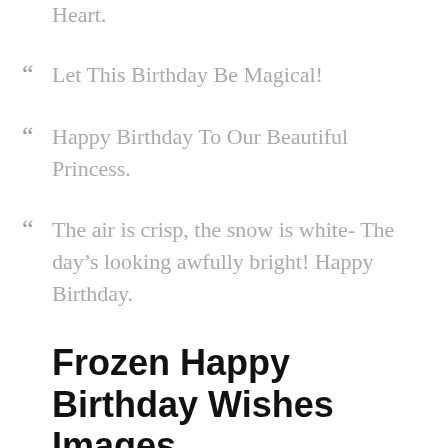Happy Birthday From Deep of My Heart.
Let This Birthday Be Magical!
Happy Birthday To Our Beautiful Princess.
The air is crisp, the snow is white- The day's looking awfully bright! Happy Birthday.
Frozen Happy Birthday Wishes Images